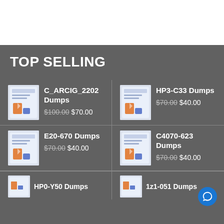TOP SELLING
C_ARCIG_2202 Dumps $100.00 $70.00
HP3-C33 Dumps $70.00 $40.00
E20-670 Dumps $70.00 $40.00
C4070-623 Dumps $70.00 $40.00
HP0-Y50 Dumps
1z1-051 Dumps